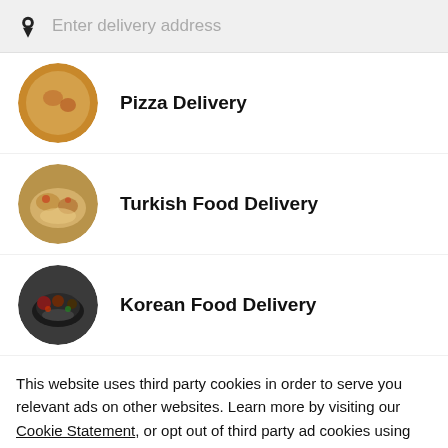Enter delivery address
Pizza Delivery
Turkish Food Delivery
Korean Food Delivery
This website uses third party cookies in order to serve you relevant ads on other websites. Learn more by visiting our Cookie Statement, or opt out of third party ad cookies using the button below.
Opt out
Got it